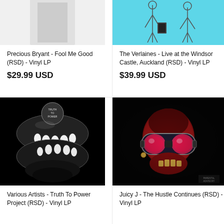[Figure (photo): Partial album cover for Precious Bryant - Fool Me Good, top portion cut off, white background]
Precious Bryant - Fool Me Good (RSD) - Vinyl LP
$29.99 USD
[Figure (photo): Partial album cover for The Verlaines - Live at the Windsor Castle Auckland, teal/cyan background with figure illustrations]
The Verlaines - Live at the Windsor Castle, Auckland (RSD) - Vinyl LP
$39.99 USD
[Figure (photo): Album cover for Various Artists - Truth To Power Project, black background with metallic crocodile/alligator mouth showing teeth, badge reading 'Truth Power']
Various Artists - Truth To Power Project (RSD) - Vinyl LP
[Figure (photo): Album cover for Juicy J - The Hustle Continues, dark background with red-lit skull wearing large goggle-style glasses, explicit advisory label]
Juicy J - The Hustle Continues (RSD) - Vinyl LP